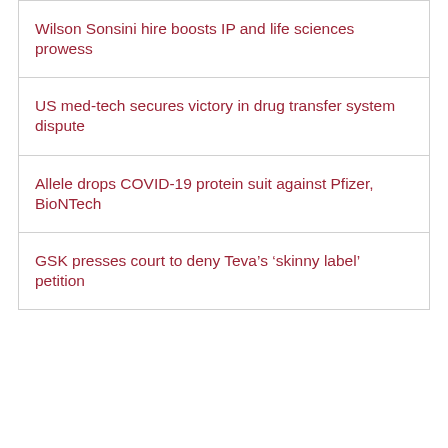Wilson Sonsini hire boosts IP and life sciences prowess
US med-tech secures victory in drug transfer system dispute
Allele drops COVID-19 protein suit against Pfizer, BioNTech
GSK presses court to deny Teva’s ‘skinny label’ petition
Links
Home
News
About
Contact